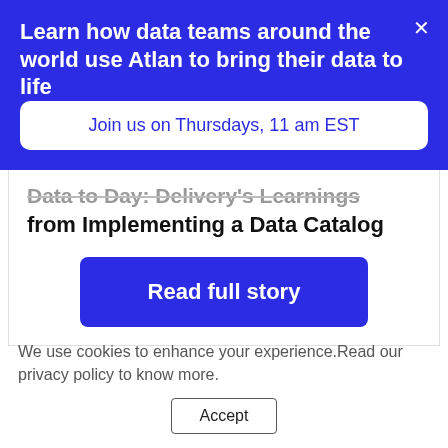Learn how data teams around the world use Atlan to bring their data to life
Join us on Thursdays, 11 am EST
from Implementing a Data Catalog
Read full story
We use cookies to enhance your experience.Read our privacy policy to know more.
Accept